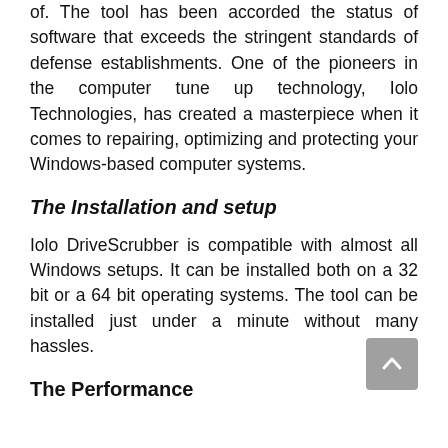of. The tool has been accorded the status of software that exceeds the stringent standards of defense establishments. One of the pioneers in the computer tune up technology, Iolo Technologies, has created a masterpiece when it comes to repairing, optimizing and protecting your Windows-based computer systems.
The Installation and setup
Iolo DriveScrubber is compatible with almost all Windows setups. It can be installed both on a 32 bit or a 64 bit operating systems. The tool can be installed just under a minute without many hassles.
The Performance